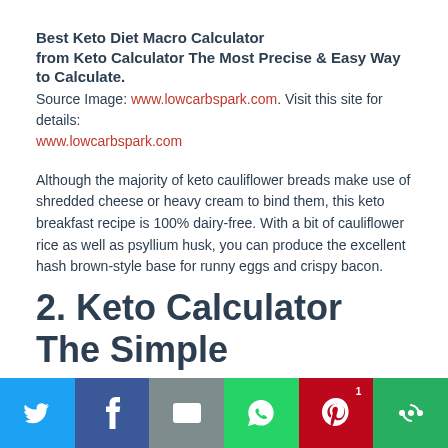Best Keto Diet Macro Calculator from Keto Calculator The Most Precise & Easy Way to Calculate.
Source Image: www.lowcarbspark.com. Visit this site for details: www.lowcarbspark.com
Although the majority of keto cauliflower breads make use of shredded cheese or heavy cream to bind them, this keto breakfast recipe is 100% dairy-free. With a bit of cauliflower rice as well as psyllium husk, you can produce the excellent hash brown-style base for runny eggs and crispy bacon.
2. Keto Calculator The Simple
[Figure (infographic): Social media sharing bar with icons for Twitter, Facebook, Email, WhatsApp, Pinterest (with badge count 1), and More options]